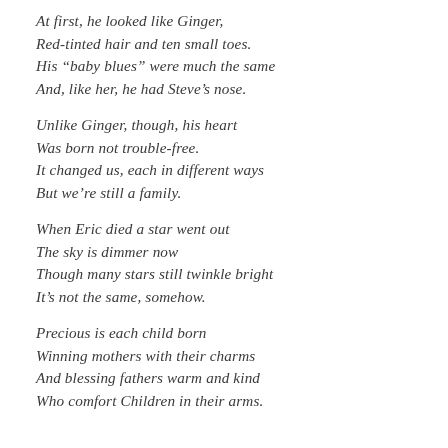At first, he looked like Ginger,
Red-tinted hair and ten small toes.
His “baby blues” were much the same
And, like her, he had Steve’s nose.
Unlike Ginger, though, his heart
Was born not trouble-free.
It changed us, each in different ways
But we’re still a family.
When Eric died a star went out
The sky is dimmer now
Though many stars still twinkle bright
It’s not the same, somehow.
Precious is each child born
Winning mothers with their charms
And blessing fathers warm and kind
Who comfort Children in their arms.